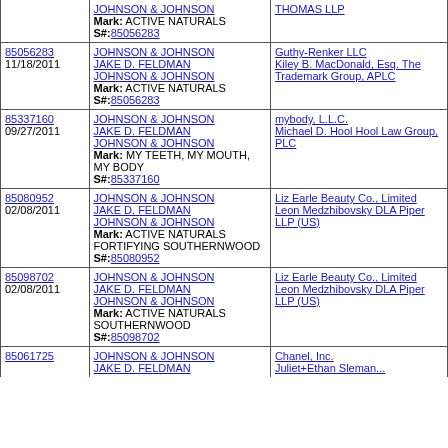| Serial / Date | Plaintiff / Mark / S# | Defendant |
| --- | --- | --- |
|  | JOHNSON & JOHNSON
Mark: ACTIVE NATURALS
S#:85056283 | THOMAS LLP |
| 85056283
11/18/2011 | JOHNSON & JOHNSON
JAKE D. FELDMAN
JOHNSON & JOHNSON
Mark: ACTIVE NATURALS
S#:85056283 | Guthy-Renker LLC
Kiley B. MacDonald, Esq. The Trademark Group, APLC |
| 85337160
09/27/2011 | JOHNSON & JOHNSON
JAKE D. FELDMAN
JOHNSON & JOHNSON
Mark: MY TEETH, MY MOUTH, MY BODY
S#:85337160 | mybody, L.L.C.
Michael D. Hool Hool Law Group, PLC |
| 85080952
02/08/2011 | JOHNSON & JOHNSON
JAKE D. FELDMAN
JOHNSON & JOHNSON
Mark: ACTIVE NATURALS FORTIFYING SOUTHERNWOOD
S#:85080952 | Liz Earle Beauty Co., Limited
Leon Medzhibovsky DLA Piper LLP (US) |
| 85098702
02/08/2011 | JOHNSON & JOHNSON
JAKE D. FELDMAN
JOHNSON & JOHNSON
Mark: ACTIVE NATURALS SOUTHERNWOOD
S#:85098702 | Liz Earle Beauty Co., Limited
Leon Medzhibovsky DLA Piper LLP (US) |
| 85061725
... | JOHNSON & JOHNSON
JAKE D. FELDMAN... | Chanel, Inc.
Juliet+Ethan Sleman... |